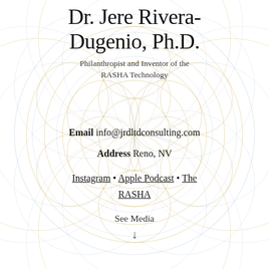Dr. Jere Rivera-Dugenio, Ph.D.
Philanthropist and Inventor of the RASHA Technology
Email info@jrdltdconsulting.com
Address Reno, NV
Instagram • Apple Podcast • The RASHA
See Media
[Figure (illustration): Sacred geometry / flower of life decorative background pattern composed of overlapping circles in gold and light blue/gray tones]